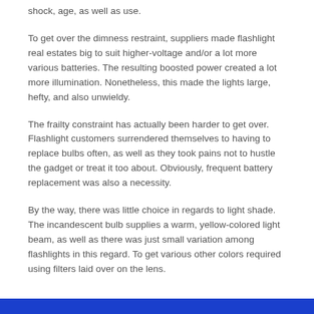shock, age, as well as use.
To get over the dimness restraint, suppliers made flashlight real estates big to suit higher-voltage and/or a lot more various batteries. The resulting boosted power created a lot more illumination. Nonetheless, this made the lights large, hefty, and also unwieldy.
The frailty constraint has actually been harder to get over. Flashlight customers surrendered themselves to having to replace bulbs often, as well as they took pains not to hustle the gadget or treat it too about. Obviously, frequent battery replacement was also a necessity.
By the way, there was little choice in regards to light shade. The incandescent bulb supplies a warm, yellow-colored light beam, as well as there was just small variation among flashlights in this regard. To get various other colors required using filters laid over on the lens.
JSON   XML   PHP   VCF   QR